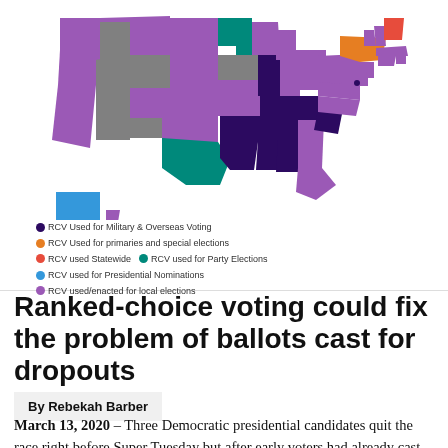[Figure (map): US map showing states colored by type of Ranked Choice Voting (RCV) usage: purple for Military & Overseas Voting, orange for primaries and special elections, red for Statewide, teal for Party Elections, blue for Presidential Nominations, light purple for used/enacted for local elections, gray for no RCV.]
RCV Used for Military & Overseas Voting | RCV Used for primaries and special elections | RCV used Statewide | RCV used for Party Elections | RCV used for Presidential Nominations | RCV used/enacted for local elections
Ranked-choice voting could fix the problem of ballots cast for dropouts
By Rebekah Barber
March 13, 2020 – Three Democratic presidential candidates quit the race right before Super Tuesday but after early voters had already cast ballots for